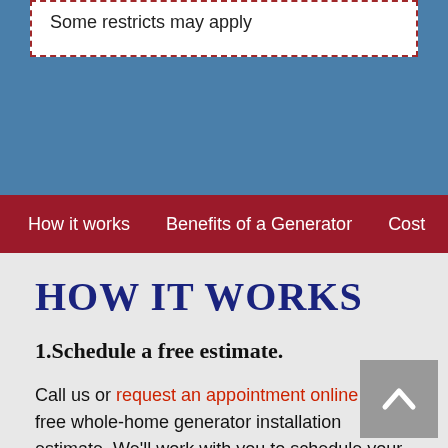Some restricts may apply
How it works  Benefits of a Generator  Cost  Generat
HOW IT WORKS
1.Schedule a free estimate.
Call us or request an appointment online for a free whole-home generator installation estimate. We'll work with you to schedule your free estimate on a day and time that works best for you.